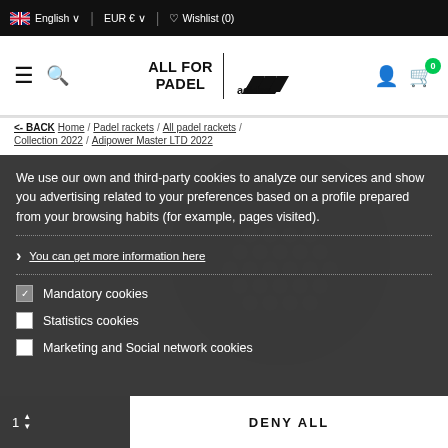English | EUR € | Wishlist (0)
[Figure (logo): ALL FOR PADEL | adidas logo header with hamburger, search, account and cart icons]
<- BACK Home / Padel rackets / All padel rackets / Collection 2022 / Adipower Master LTD 2022
We use our own and third-party cookies to analyze our services and show you advertising related to your preferences based on a profile prepared from your browsing habits (for example, pages visited).
You can get more information here
Mandatory cookies
Statistics cookies
Marketing and Social network cookies
DENY ALL